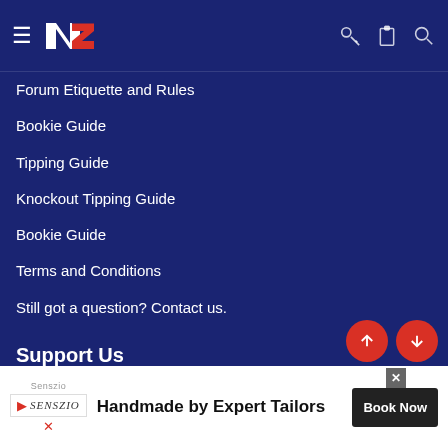NZ (logo) navigation bar with hamburger menu, key, clipboard, and search icons
Forum Etiquette and Rules
Bookie Guide
Tipping Guide
Knockout Tipping Guide
Bookie Guide
Terms and Conditions
Still got a question? Contact us.
Support Us
This site is fully funded by ads you see. We do not ask for any money to help run the site, but if you like what you see and want to help us bring new features and resources, please consider upgrading your account to a contributing member.
[Figure (screenshot): Advertisement banner: Senszio - Handmade by Expert Tailors with Book Now button]